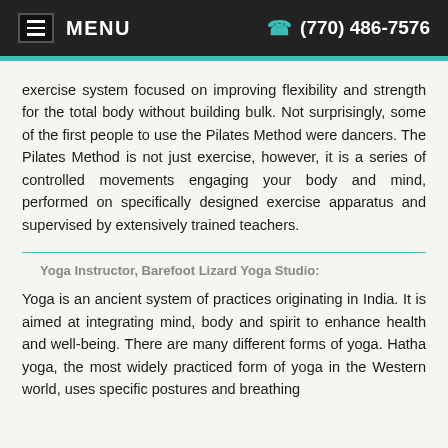MENU   (770) 486-7576
exercise system focused on improving flexibility and strength for the total body without building bulk. Not surprisingly, some of the first people to use the Pilates Method were dancers. The Pilates Method is not just exercise, however, it is a series of controlled movements engaging your body and mind, performed on specifically designed exercise apparatus and supervised by extensively trained teachers.
Yoga Instructor, Barefoot Lizard Yoga Studio:
Yoga is an ancient system of practices originating in India. It is aimed at integrating mind, body and spirit to enhance health and well-being. There are many different forms of yoga. Hatha yoga, the most widely practiced form of yoga in the Western world, uses specific postures and breathing exercises to align and calm your body, mind and spirit.